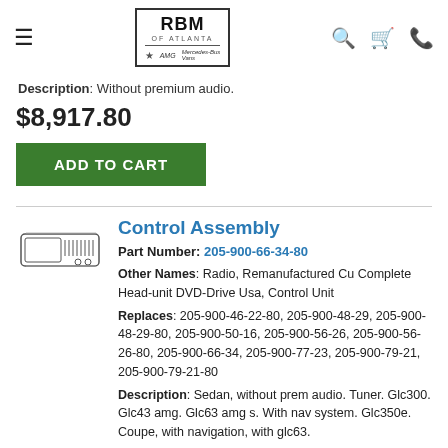RBM of Atlanta — Mercedes-Benz, AMG, Mercedes-Benz Vans dealer header with navigation icons
Description: Without premium audio.
$8,917.80
ADD TO CART
Control Assembly
Part Number: 205-900-66-34-80
Other Names: Radio, Remanufactured Cu Complete Head-unit DVD-Drive Usa, Control Unit
Replaces: 205-900-46-22-80, 205-900-48-29, 205-900-48-29-80, 205-900-50-16, 205-900-56-26, 205-900-56-26-80, 205-900-66-34, 205-900-77-23, 205-900-79-21, 205-900-79-21-80
Description: Sedan, without prem audio. Tuner. Glc300. Glc43 amg. Glc63 amg s. With nav system. Glc350e. Coupe, with navigation, with glc63.
$4,627.11